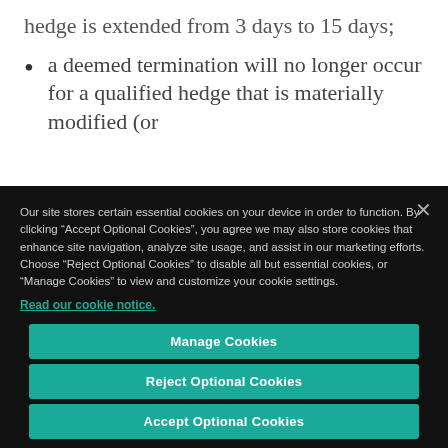hedge is extended from 3 days to 15 days;
a deemed termination will no longer occur for a qualified hedge that is materially modified (or
Our site stores certain essential cookies on your device in order to function. By clicking “Accept Optional Cookies”, you agree we may also store cookies that enhance site navigation, analyze site usage, and assist in our marketing efforts. Choose “Reject Optional Cookies” to disable all but essential cookies, or “Manage Cookies” to view and customize your cookie settings.
Read our cookie notice.
Manage Cookies
Reject Optional Cookies
Accept Optional Cookies